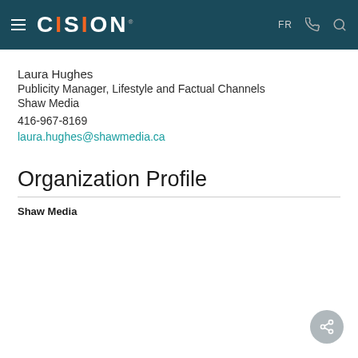CISION | FR
Laura Hughes
Publicity Manager, Lifestyle and Factual Channels
Shaw Media
416-967-8169
laura.hughes@shawmedia.ca
Organization Profile
Shaw Media